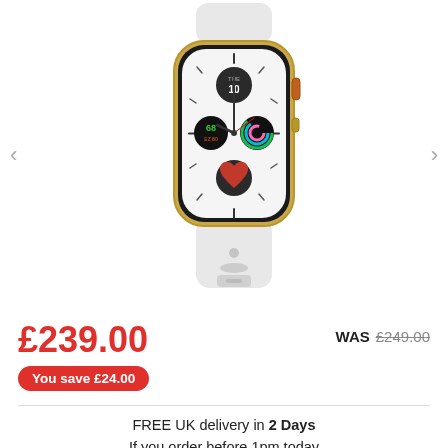[Figure (photo): Apple Watch Series 5 with gold stainless steel case and white sport band, showing the watch face with TUE 10, activity rings, and health indicators. Navigation arrows on left and right sides.]
£239.00
You save £24.00
WAS £249.00
FREE UK delivery in 2 Days
If you order before 1pm today